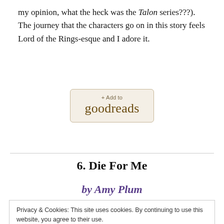my opinion, what the heck was the Talon series???). The journey that the characters go on in this story feels Lord of the Rings-esque and I adore it.
[Figure (other): Goodreads '+ Add to goodreads' button with beige/tan background]
6. Die For Me
by Amy Plum
Privacy & Cookies: This site uses cookies. By continuing to use this website, you agree to their use.
To find out more, including how to control cookies, see here: Cookie Policy
[Close and accept button]